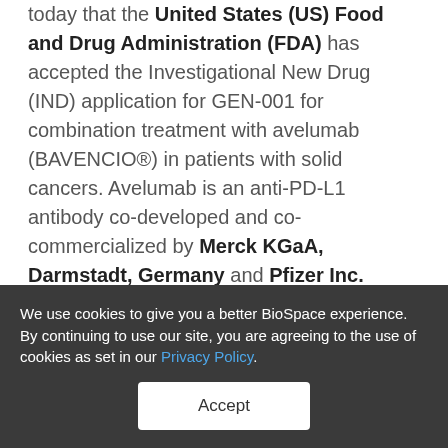today that the United States (US) Food and Drug Administration (FDA) has accepted the Investigational New Drug (IND) application for GEN-001 for combination treatment with avelumab (BAVENCIO®) in patients with solid cancers. Avelumab is an anti-PD-L1 antibody co-developed and co-commercialized by Merck KGaA, Darmstadt, Germany and Pfizer Inc.
[Figure (logo): Partial logo with blue/red eye-like emblem visible at bottom of main content area]
We use cookies to give you a better BioSpace experience. By continuing to use our site, you are agreeing to the use of cookies as set in our Privacy Policy.
Accept